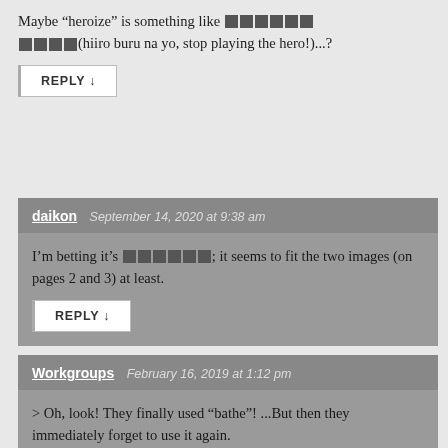Maybe “heroize” is something like ██████████(hiiro buru na yo, stop playing the hero!)...?
REPLY ↓
daikon  September 14, 2020 at 9:38 am
I’m betting it’s ██████; it seems to fit the two images (on pages 2 and 3) at least.
REPLY ↓
Workgroups  February 16, 2019 at 1:12 pm
> Oh, look! They finally used “bathe”! ...But then they immediately forget to use it again.
I bet the translator actually arrived at “bathed” by adding -ed to “bath”.